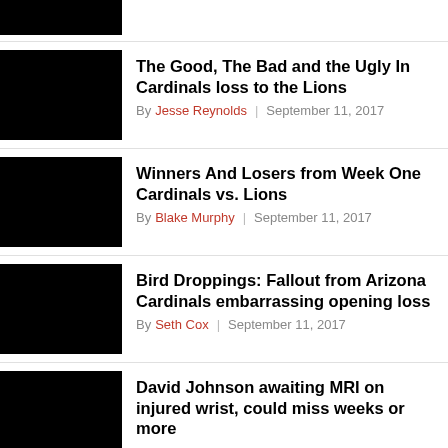[Figure (photo): Black redacted thumbnail image at top of page]
[Figure (photo): Black redacted thumbnail image for article 1]
The Good, The Bad and the Ugly In Cardinals loss to the Lions
By Jesse Reynolds | September 11, 2017
[Figure (photo): Black redacted thumbnail image for article 2]
Winners And Losers from Week One Cardinals vs. Lions
By Blake Murphy | September 11, 2017
[Figure (photo): Black redacted thumbnail image for article 3]
Bird Droppings: Fallout from Arizona Cardinals embarrassing opening loss
By Seth Cox | September 11, 2017
[Figure (photo): Black redacted thumbnail image for article 4]
David Johnson awaiting MRI on injured wrist, could miss weeks or more
By Seth Cox | September 10, 2017